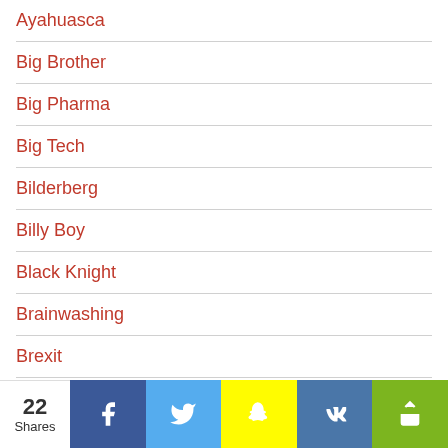Ayahuasca
Big Brother
Big Pharma
Big Tech
Bilderberg
Billy Boy
Black Knight
Brainwashing
Brexit
Caeli Francisco
Cancer
22 Shares | Facebook | Twitter | Snapchat | VK | Share